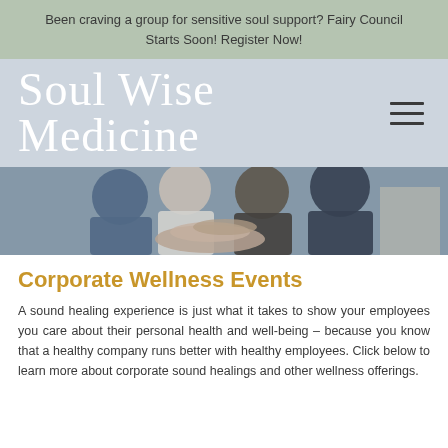Been craving a group for sensitive soul support? Fairy Council Starts Soon! Register Now!
Soul Wise Medicine
[Figure (photo): Group of professionals in business attire stacking hands together in a team gesture outdoors]
Corporate Wellness Events
A sound healing experience is just what it takes to show your employees you care about their personal health and well-being – because you know that a healthy company runs better with healthy employees. Click below to learn more about corporate sound healings and other wellness offerings.